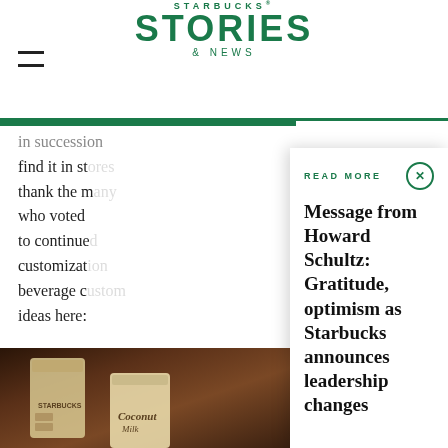STARBUCKS® STORIES & NEWS
find it in st… thank the m… who voted… to continue… customizat… beverage c… ideas here:
[Figure (photo): Group of people posing together for a photo]
[Figure (photo): Starbucks coffee cups and beverages on a counter, with a Coconut labeled cup visible]
READ MORE
Message from Howard Schultz: Gratitude, optimism as Starbucks announces leadership changes